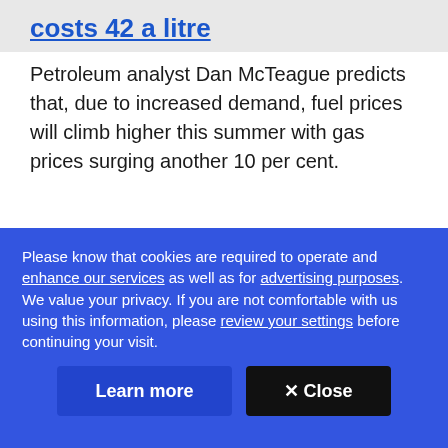costs 42 a litre
Petroleum analyst Dan McTeague predicts that, due to increased demand, fuel prices will climb higher this summer with gas prices surging another 10 per cent.
ADVERTISEMENT
"In Toronto, there are days this summer where gasoline will hit $2.20 a litre. Vancouver could see
Please know that cookies are required to operate and enhance our services as well as for advertising purposes. We value your privacy. If you are not comfortable with us using this information, please review your settings before continuing your visit.
Learn more
✕ Close